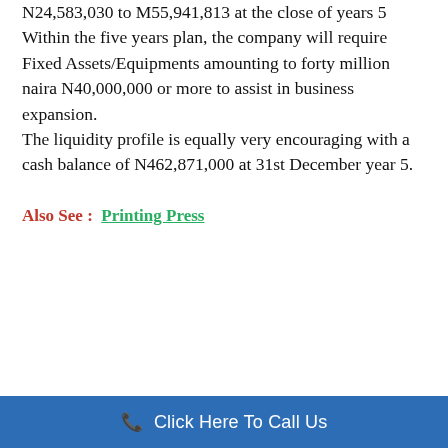The Assets has been increase from N24,583,030 to M55,941,813 at the close of years 5
Within the five years plan, the company will require Fixed Assets/Equipments amounting to forty million naira N40,000,000 or more to assist in business expansion.
The liquidity profile is equally very encouraging with a cash balance of N462,871,000 at 31st December year 5.
Also See : Printing Press
Click Here To Call Us